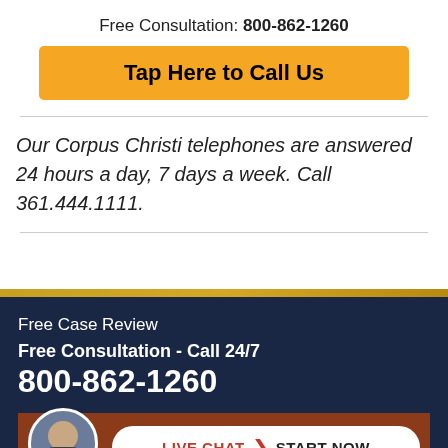Free Consultation: 800-862-1260
Tap Here to Call Us
Our Corpus Christi telephones are answered 24 hours a day, 7 days a week. Call 361.444.1111.
Free Case Review
Free Consultation - Call 24/7
800-862-1260
LIVE CHAT START NOW